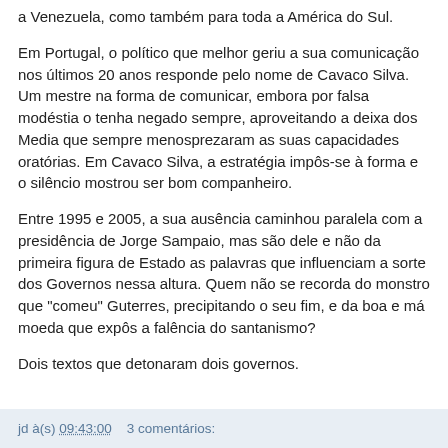a Venezuela, como também para toda a América do Sul.

Em Portugal, o político que melhor geriu a sua comunicação nos últimos 20 anos responde pelo nome de Cavaco Silva. Um mestre na forma de comunicar, embora por falsa modéstia o tenha negado sempre, aproveitando a deixa dos Media que sempre menosprezaram as suas capacidades oratórias. Em Cavaco Silva, a estratégia impôs-se à forma e o silêncio mostrou ser bom companheiro.

Entre 1995 e 2005, a sua ausência caminhou paralela com a presidência de Jorge Sampaio, mas são dele e não da primeira figura de Estado as palavras que influenciam a sorte dos Governos nessa altura. Quem não se recorda do monstro que "comeu" Guterres, precipitando o seu fim, e da boa e má moeda que expôs a falência do santanismo?

Dois textos que detonaram dois governos.
jd à(s) 09:43:00    3 comentários: